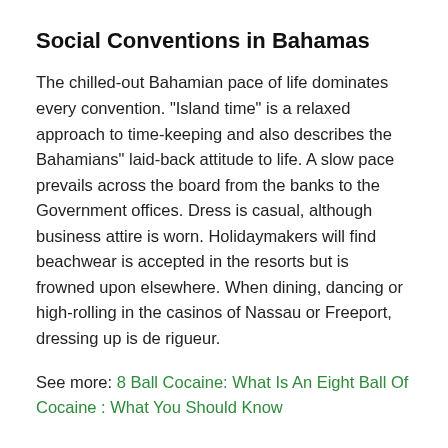Social Conventions in Bahamas
The chilled-out Bahamian pace of life dominates every convention. "Island time" is a relaxed approach to time-keeping and also describes the Bahamians" laid-back attitude to life. A slow pace prevails across the board from the banks to the Government offices. Dress is casual, although business attire is worn. Holidaymakers will find beachwear is accepted in the resorts but is frowned upon elsewhere. When dining, dancing or high-rolling in the casinos of Nassau or Freeport, dressing up is de rigueur.
See more: 8 Ball Cocaine: What Is An Eight Ball Of Cocaine : What You Should Know
Language in Bahamas
English is the official language. Bahamian patois is